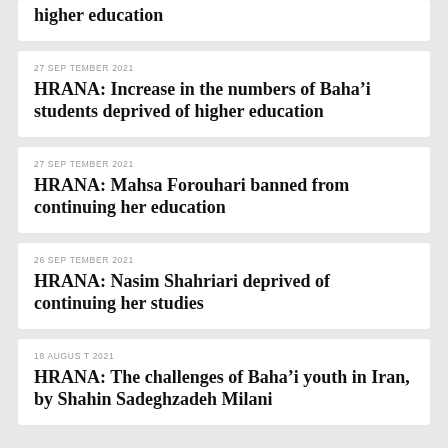higher education
27 SEPTEMBER 2021
HRANA: Increase in the numbers of Baha’i students deprived of higher education
27 SEPTEMBER 2021
HRANA: Mahsa Forouhari banned from continuing her education
26 SEPTEMBER 2021
HRANA: Nasim Shahriari deprived of continuing her studies
18 AUGUST 2021
HRANA: The challenges of Baha’i youth in Iran, by Shahin Sadeghzadeh Milani